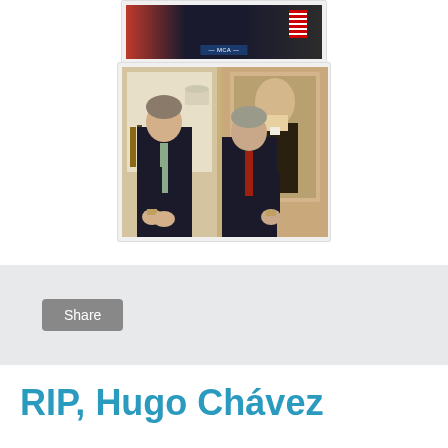[Figure (photo): Top portion of a photo showing people in formal attire with American flags visible, appears to be a formal event or ceremony]
[Figure (photo): Photo of two men in dark suits checking their wristwatches simultaneously, standing in what appears to be the Oval Office with a portrait of Abraham Lincoln visible in the background]
Share
RIP, Hugo Chávez